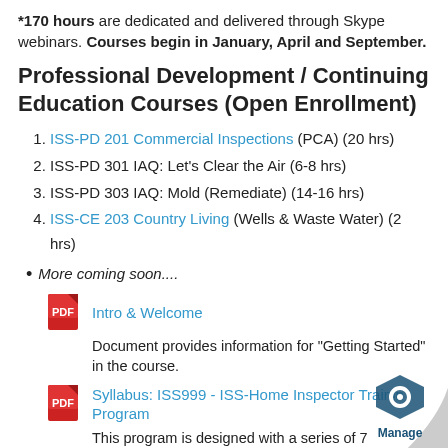*170 hours are dedicated and delivered through Skype webinars. Courses begin in January, April and September.
Professional Development / Continuing Education Courses (Open Enrollment)
1. ISS-PD 201 Commercial Inspections (PCA) (20 hrs)
2. ISS-PD 301 IAQ: Let's Clear the Air (6-8 hrs)
3. ISS-PD 303 IAQ: Mold (Remediate) (14-16 hrs)
4. ISS-CE 203 Country Living (Wells & Waste Water) (2 hrs)
More coming soon....
Intro & Welcome
Document provides information for "Getting Started" in the course.
Syllabus: ISS999 - ISS-Home Inspector Training Program
This program is designed with a series of 7... that will assist students in combining... technical learning experience them with th...